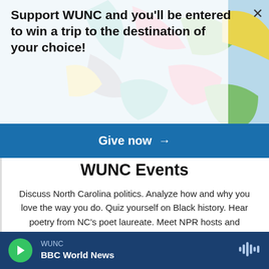[Figure (illustration): Colorful geometric circle segments in teal, pink, green, yellow, gray as decorative banner background]
Support WUNC and you'll be entered to win a trip to the destination of your choice!
Give now →
WUNC Events
Discuss North Carolina politics. Analyze how and why you love the way you do. Quiz yourself on Black history. Hear poetry from NC's poet laureate. Meet NPR hosts and reporters. You never know where WUNC's events will take you. Join us for this ride! See our upcoming events and sign up to attend.
SEE OUR EVENTS
WUNC BBC World News